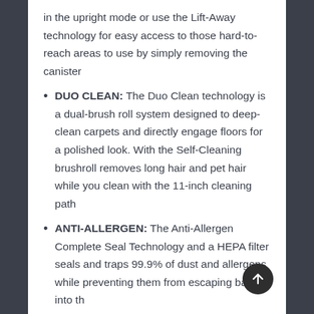in the upright mode or use the Lift-Away technology for easy access to those hard-to-reach areas to use by simply removing the canister
DUO CLEAN: The Duo Clean technology is a dual-brush roll system designed to deep-clean carpets and directly engage floors for a polished look. With the Self-Cleaning brushroll removes long hair and pet hair while you clean with the 11-inch cleaning path
ANTI-ALLERGEN: The Anti-Allergen Complete Seal Technology and a HEPA filter seals and traps 99.9% of dust and allergens while preventing them from escaping back into the air